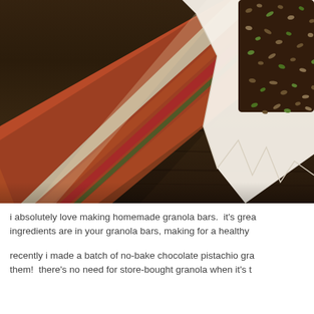[Figure (photo): Close-up photo of a colorful plaid/striped woven textile (orange, red, cream, green stripes) folded on a dark wooden surface, with a granola bar wrapped in white parchment paper visible in the upper right corner. The granola bar is coated with seeds, nuts, and appears to be a chocolate pistachio granola bar.]
i absolutely love making homemade granola bars.  it's grea ingredients are in your granola bars, making for a healthy
recently i made a batch of no-bake chocolate pistachio gra them!  there's no need for store-bought granola when it's t